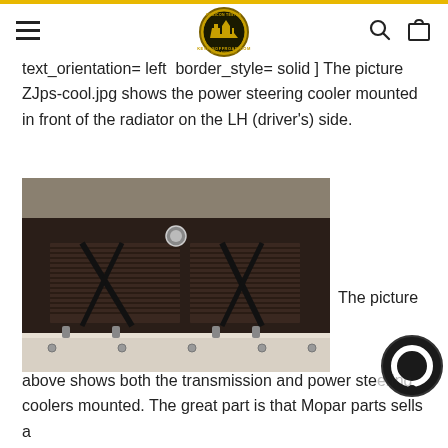KevinsOffRoad.com navigation bar with hamburger menu, logo, search and cart icons
text_orientation= left  border_style= solid ] The picture ZJps-cool.jpg shows the power steering cooler mounted in front of the radiator on the LH (driver's) side.
[Figure (photo): Photo of a power steering cooler mounted in front of the radiator on the LH (driver's) side of a vehicle. The image shows black metal components including coolers with fins and hoses in an engine bay with a white cradle visible at the bottom.]
The picture above shows both the transmission and power steering coolers mounted. The great part is that Mopar parts sells a